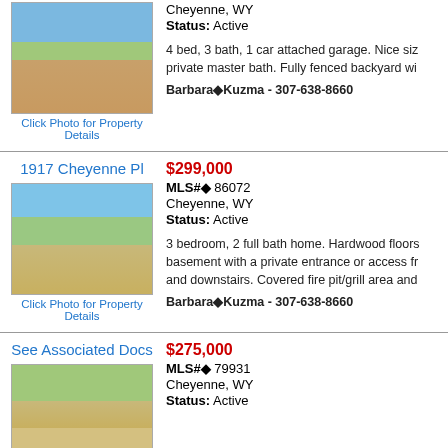[Figure (photo): House exterior photo - brick ranch with green fence and trees]
Click Photo for Property Details
Cheyenne, WY
Status: Active
4 bed, 3 bath, 1 car attached garage. Nice siz... private master bath. Fully fenced backyard wi...
Barbara◆Kuzma - 307-638-8660
1917 Cheyenne Pl
$299,000
MLS#◆ 86072
Cheyenne, WY
Status: Active
3 bedroom, 2 full bath home. Hardwood floors... basement with a private entrance or access fr... and downstairs. Covered fire pit/grill area and...
Barbara◆Kuzma - 307-638-8660
[Figure (photo): House exterior photo - small tan house with garage and mailbox]
Click Photo for Property Details
See Associated Docs
$275,000
MLS#◆ 79931
Cheyenne, WY
Status: Active
[Figure (photo): Vacant land with trees and dry grass]